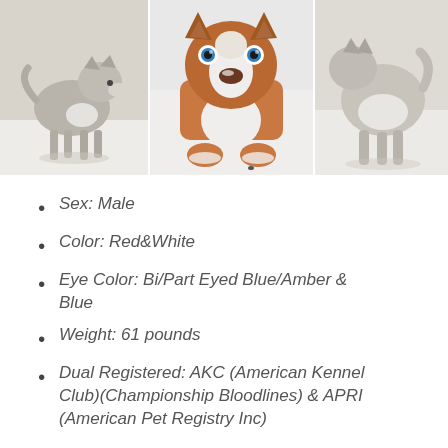[Figure (photo): Three photos of Siberian Husky dogs in snow. Left: gray/white husky standing sideways. Center: red/white husky with blue eyes looking down toward camera. Right: partial view of a husky dog.]
Sex: Male
Color: Red&White
Eye Color: Bi/Part Eyed Blue/Amber & Blue
Weight: 61 pounds
Dual Registered: AKC (American Kennel Club)(Championship Bloodlines) & APRI (American Pet Registry Inc)